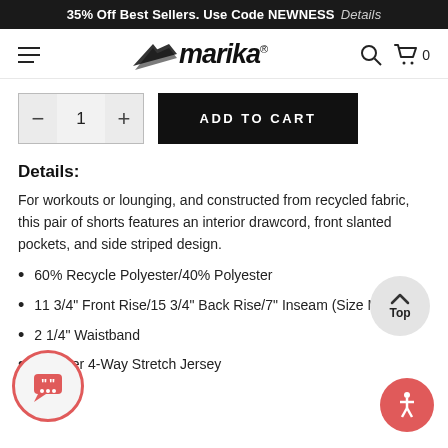35% Off Best Sellers. Use Code NEWNESS  Details
[Figure (logo): Marika brand logo with stylized wings icon and italic text]
[Figure (other): Quantity selector showing minus, 1, plus controls and ADD TO CART button]
Details:
For workouts or lounging, and constructed from recycled fabric, this pair of shorts features an interior drawcord, front slanted pockets, and side striped design.
60% Recycle Polyester/40% Polyester
11 3/4" Front Rise/15 3/4" Back Rise/7" Inseam (Size M)
2 1/4" Waistband
Heather 4-Way Stretch Jersey